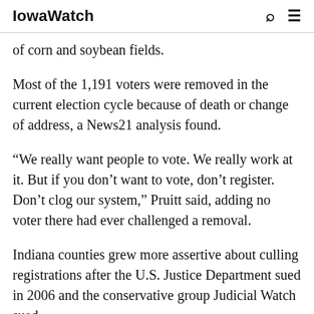IowaWatch
of corn and soybean fields.
Most of the 1,191 voters were removed in the current election cycle because of death or change of address, a News21 analysis found.
“We really want people to vote. We really work at it. But if you don’t want to vote, don’t register. Don’t clog our system,” Pruitt said, adding no voter there had ever challenged a removal.
Indiana counties grew more assertive about culling registrations after the U.S. Justice Department sued in 2006 and the conservative group Judicial Watch sued